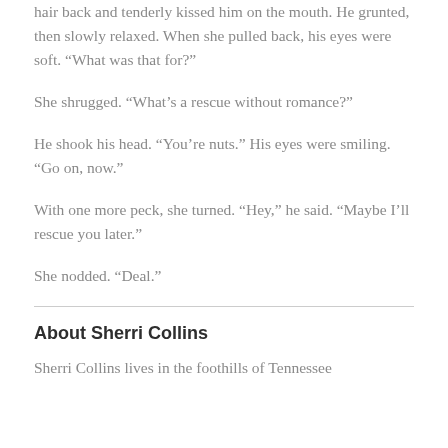hair back and tenderly kissed him on the mouth. He grunted, then slowly relaxed. When she pulled back, his eyes were soft. “What was that for?”
She shrugged. “What’s a rescue without romance?”
He shook his head. “You’re nuts.” His eyes were smiling. “Go on, now.”
With one more peck, she turned. “Hey,” he said. “Maybe I’ll rescue you later.”
She nodded. “Deal.”
About Sherri Collins
Sherri Collins lives in the foothills of Tennessee